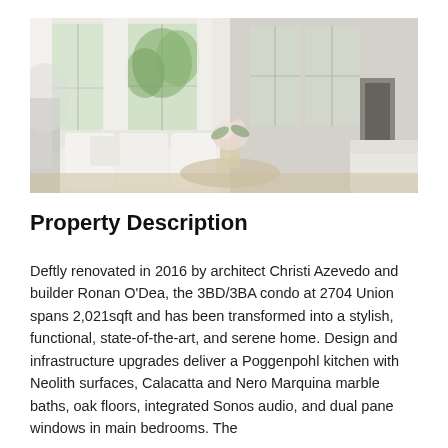[Figure (photo): Interior photo of a bright, elegant living room with white sofas, large windows with white curtains, a floral arrangement on a coffee table, and an adjacent room visible on the right side. The space is light-filled with a contemporary design.]
Property Description
Deftly renovated in 2016 by architect Christi Azevedo and builder Ronan O'Dea, the 3BD/3BA condo at 2704 Union spans 2,021sqft and has been transformed into a stylish, functional, state-of-the-art, and serene home. Design and infrastructure upgrades deliver a Poggenpohl kitchen with Neolith surfaces, Calacatta and Nero Marquina marble baths, oak floors, integrated Sonos audio, and dual pane windows in main bedrooms. The